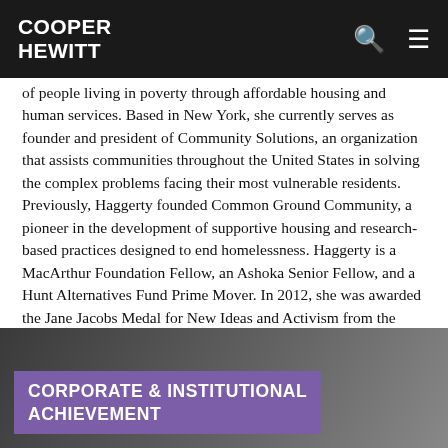COOPER HEWITT
of people living in poverty through affordable housing and human services. Based in New York, she currently serves as founder and president of Community Solutions, an organization that assists communities throughout the United States in solving the complex problems facing their most vulnerable residents. Previously, Haggerty founded Common Ground Community, a pioneer in the development of supportive housing and research-based practices designed to end homelessness. Haggerty is a MacArthur Foundation Fellow, an Ashoka Senior Fellow, and a Hunt Alternatives Fund Prime Mover. In 2012, she was awarded the Jane Jacobs Medal for New Ideas and Activism from the Rockefeller Foundation.
[Figure (photo): Photo section with purple overlay label reading CORPORATE & INSTITUTIONAL ACHIEVEMENT]
CORPORATE & INSTITUTIONAL ACHIEVEMENT